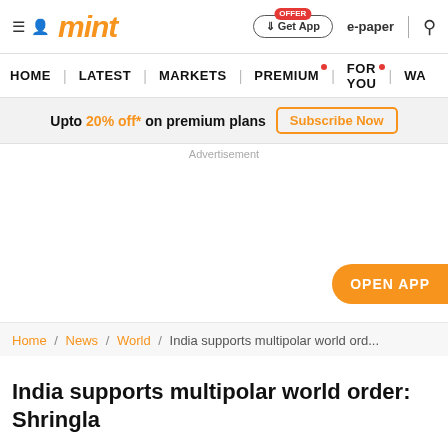mint
Upto 20% off* on premium plans — Subscribe Now
Advertisement
[Figure (other): Advertisement area with OPEN APP button]
Home / News / World / India supports multipolar world ord...
India supports multipolar world order: Shringla